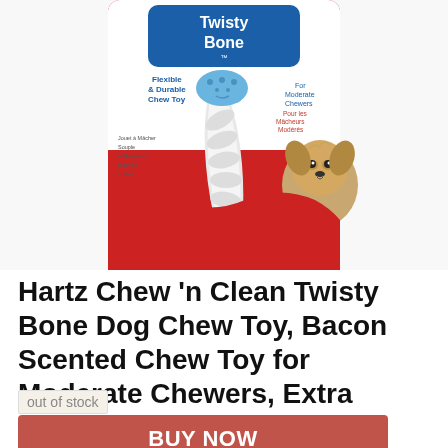[Figure (photo): Product photo of Hartz Chew 'n Clean Twisty Bone dog chew toy in packaging. White twisted bone-shaped chew toy with blue bone-shaped ends on a red and white package. Text on package reads: Twisty Bone, Flexible & Durable Chew Toy, For Moderate Chewers, Pour les Mâcheurs Modérés, Jouet à Mâcher Souple et Résistant pour les chiens, Bacon scented, arôme de Bacon. Image of a small Yorkshire Terrier dog shown on the packaging.]
Hartz Chew 'n Clean Twisty Bone Dog Chew Toy, Bacon Scented Chew Toy for Moderate Chewers, Extra Small, Color Varies
out of stock
BUY NOW